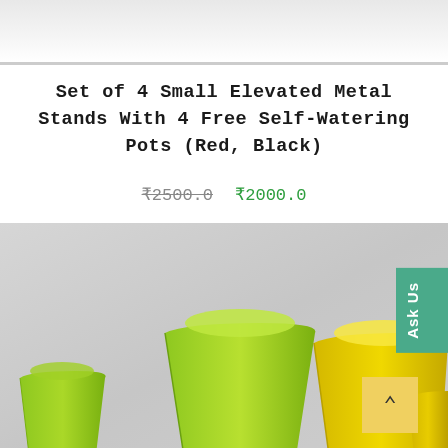[Figure (photo): Top portion of a product photo showing a gray background, partially visible at top of page]
Set of 4 Small Elevated Metal Stands With 4 Free Self-Watering Pots (Red, Black)
₹2500.0   ₹2000.0
[Figure (photo): Product photo showing green and yellow self-watering pots of various sizes on a gray background, with a teal 'Ask Us' vertical button on the right and a yellow scroll-up button in the lower right corner]